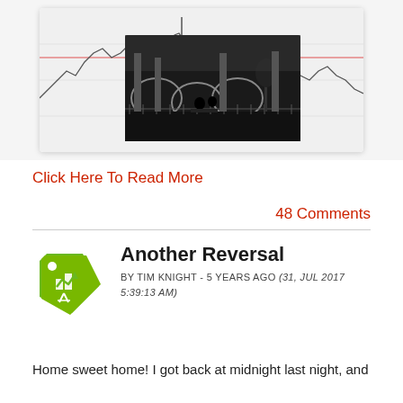[Figure (screenshot): A tablet/device showing a financial chart with a black-and-white overlay photo of two people sitting on a bench near a bridge]
Click Here To Read More
48 Comments
Another Reversal
BY TIM KNIGHT - 5 YEARS AGO (31, JUL 2017 5:39:13 AM)
Home sweet home! I got back at midnight last night, and